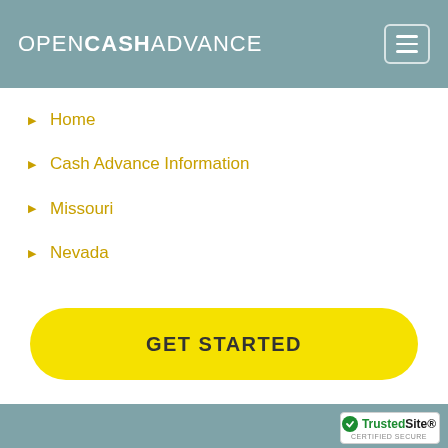OPENCASHADVANCE
Home
Cash Advance Information
Missouri
Nevada
GET STARTED
CASH ADVANCE AND PAYDAY LOANS IN NEVADA, MO.